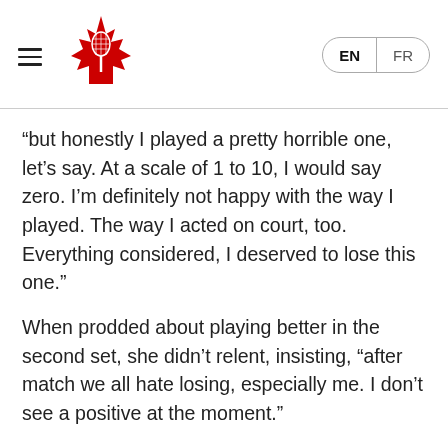Tennis Canada logo with hamburger menu and EN/FR language selector
“but honestly I played a pretty horrible one, let’s say. At a scale of 1 to 10, I would say zero. I’m definitely not happy with the way I played. The way I acted on court, too. Everything considered, I deserved to lose this one.”
When prodded about playing better in the second set, she didn’t relent, insisting, “after match we all hate losing, especially me. I don’t see a positive at the moment.”
The Fernandez loss means there are no